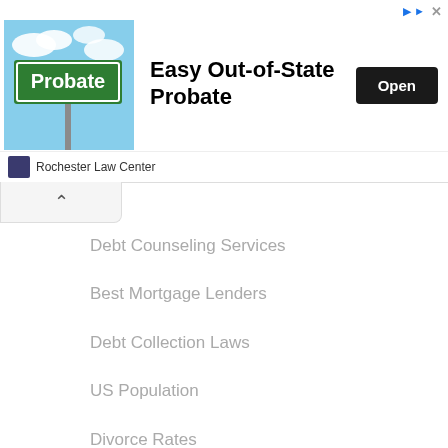[Figure (infographic): Advertisement banner for Rochester Law Center promoting Easy Out-of-State Probate service. Shows a green Probate street sign against a cloudy sky background. Includes 'Open' button and Rochester Law Center branding.]
Debt Counseling Services
Best Mortgage Lenders
Debt Collection Laws
US Population
Divorce Rates
Food Stamps Program
Local Food Pantries